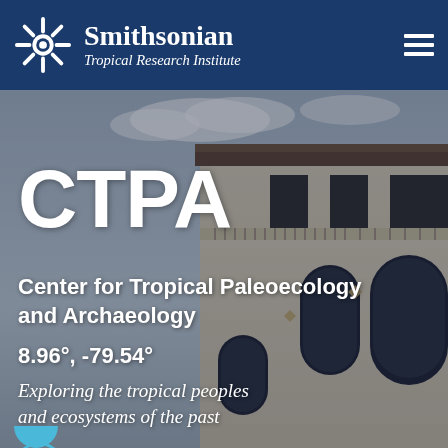Smithsonian Tropical Research Institute
[Figure (photo): Background photograph of a white colonial-style building with arched windows and a tiled roof, viewed from outside, sky visible overhead.]
CTPA
Center for Tropical Paleoecology and Archaeology
8.96°, -79.54°
Exploring the tropical peoples and ecosystems of the past
Register for research